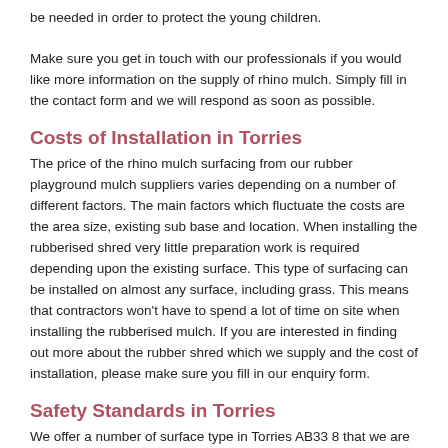be needed in order to protect the young children.
Make sure you get in touch with our professionals if you would like more information on the supply of rhino mulch. Simply fill in the contact form and we will respond as soon as possible.
Costs of Installation in Torries
The price of the rhino mulch surfacing from our rubber playground mulch suppliers varies depending on a number of different factors. The main factors which fluctuate the costs are the area size, existing sub base and location. When installing the rubberised shred very little preparation work is required depending upon the existing surface. This type of surfacing can be installed on almost any surface, including grass. This means that contractors won't have to spend a lot of time on site when installing the rubberised mulch. If you are interested in finding out more about the rubber shred which we supply and the cost of installation, please make sure you fill in our enquiry form.
Safety Standards in Torries
We offer a number of surface type in Torries AB33 8 that we are